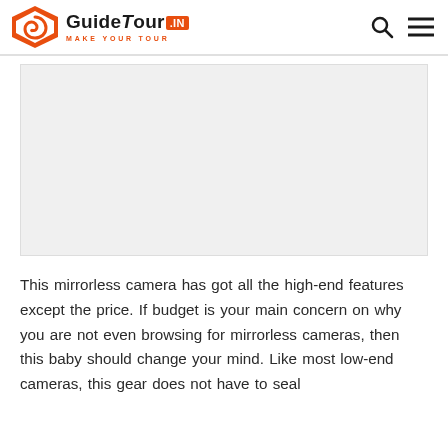GuideTour.IN — MAKE YOUR TOUR
[Figure (photo): Large image placeholder area, light gray background, representing a mirrorless camera photo]
This mirrorless camera has got all the high-end features except the price. If budget is your main concern on why you are not even browsing for mirrorless cameras, then this baby should change your mind. Like most low-end cameras, this gear does not have to seal